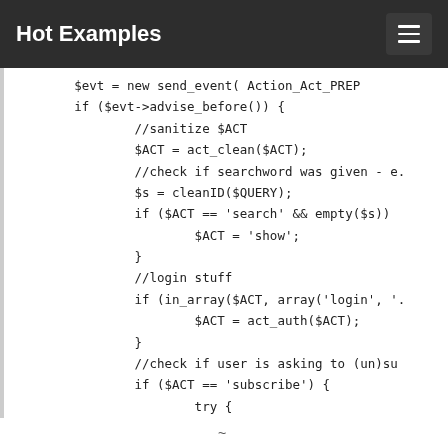Hot Examples
[Figure (screenshot): Code snippet showing PHP code with if/else logic including sanitize, search, login, subscribe actions]
~